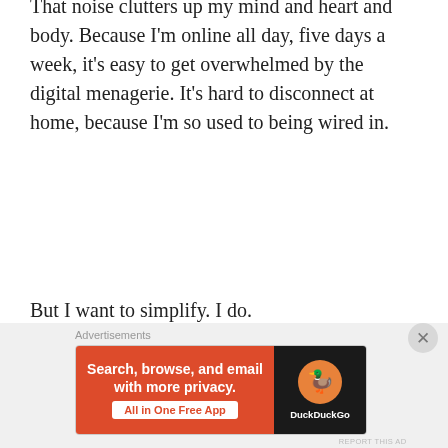That noise clutters up my mind and heart and body. Because I'm online all day, five days a week, it's easy to get overwhelmed by the digital menagerie. It's hard to disconnect at home, because I'm so used to being wired in.
But I want to simplify. I do.
[Figure (other): WordPress VIP advertisement banner with 'Learn more' button on gradient orange/pink background]
And not just through my inbox battles, either. Like so many of us, we're trying to conserve our financial
[Figure (other): DuckDuckGo advertisement: 'Search, browse, and email with more privacy. All in One Free App' with DuckDuckGo logo on dark background]